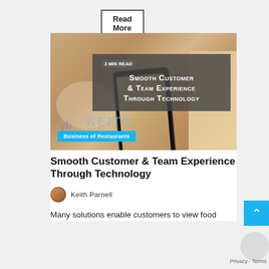Read More
[Figure (photo): A hand holding a smartphone photographing food on a restaurant table, with overlaid text 'Smooth Customer & Team Experience Through Technology' on a dark banner, a '2 MIN READ' badge, and a 'Business of Restaurants' category label in cyan at the bottom left.]
Smooth Customer & Team Experience Through Technology
Keith Parnell
Many solutions enable customers to view food